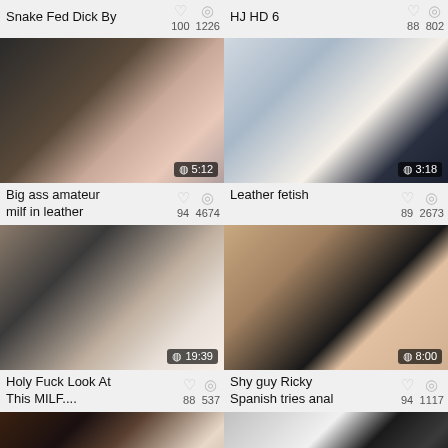Snake Fed Dick By   100  1226   HJ HD 6   88  802
[Figure (photo): Video thumbnail - Big ass amateur milf in leather, duration 5:12]
[Figure (photo): Video thumbnail - Leather fetish, duration 3:18]
Big ass amateur milf in leather  94  4674   Leather fetish  89  2673
[Figure (photo): Video thumbnail - Holy Fuck Look At This MILF...., duration 19:39]
[Figure (photo): Video thumbnail - Shy guy Ricky Spanish tries anal, duration 8:00]
Holy Fuck Look At This MILF....  88  537   Shy guy Ricky Spanish tries anal  94  1117
[Figure (photo): Video thumbnail - partial, bottom of page left]
[Figure (photo): Video thumbnail - partial, bottom of page right]